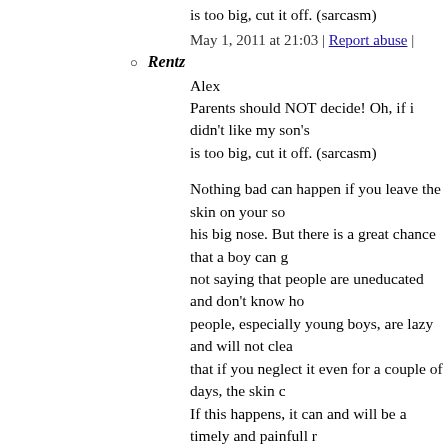is too big, cut it off. (sarcasm)
May 1, 2011 at 21:03 | Report abuse |
Rentz
Alex
Parents should NOT decide! Oh, if i didn't like my son's is too big, cut it off. (sarcasm)
Nothing bad can happen if you leave the skin on your so his big nose. But there is a great chance that a boy can g not saying that people are uneducated and don't know ho people, especially young boys, are lazy and will not clea that if you neglect it even for a couple of days, the skin c If this happens, it can and will be a timely and painfull r
May 2, 2011 at 10:23 | Report abuse |
37. Locuta
That parents have had the option of having a healthy, normal, n off of their son's penis for any reason or no particular reason is normal body part that parents can ask a doctor to amputate and Imagine - "You think she looks better with three fingers instea We'll use some numbing cream and she'll be just fine." The me these mutilations is unethical and reprehensible.
Giving boys' genitals the same protection that our girls current